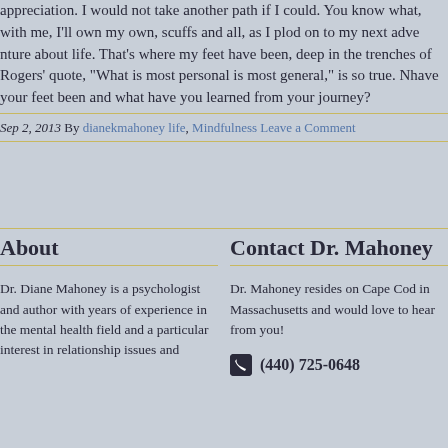appreciation. I would not take another path if I could. You know what, with me, I'll own my own, scuffs and all, as I plod on to my next adventure about life. That's where my feet have been, deep in the trenches of Rogers' quote, "What is most personal is most general," is so true. where have your feet been and what have you learned from your journey?
Sep 2, 2013 By dianekmahoney life, Mindfulness Leave a Comment
About
Contact Dr. Mahoney
Dr. Diane Mahoney is a psychologist and author with years of experience in the mental health field and a particular interest in relationship issues and
Dr. Mahoney resides on Cape Cod in Massachusetts and would love to hear from you!
(440) 725-0648